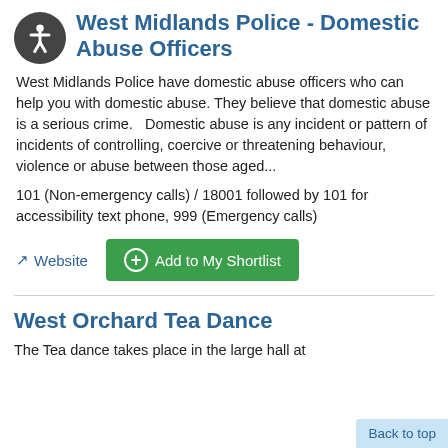West Midlands Police - Domestic Abuse Officers
West Midlands Police have domestic abuse officers who can help you with domestic abuse. They believe that domestic abuse is a serious crime.   Domestic abuse is any incident or pattern of incidents of controlling, coercive or threatening behaviour, violence or abuse between those aged...
101 (Non-emergency calls) / 18001 followed by 101 for accessibility text phone, 999 (Emergency calls)
Website   Add to My Shortlist
West Orchard Tea Dance
The Tea dance takes place in the large hall at